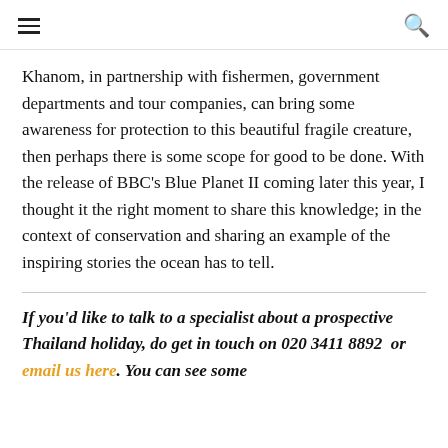≡  🔍
Khanom, in partnership with fishermen, government departments and tour companies, can bring some awareness for protection to this beautiful fragile creature, then perhaps there is some scope for good to be done. With the release of BBC's Blue Planet II coming later this year, I thought it the right moment to share this knowledge; in the context of conservation and sharing an example of the inspiring stories the ocean has to tell.
If you'd like to talk to a specialist about a prospective Thailand holiday, do get in touch on 020 3411 8892  or email us here. You can see some